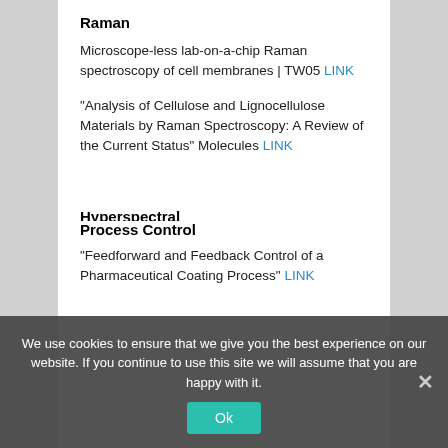Raman
Microscope-less lab-on-a-chip Raman spectroscopy of cell membranes | TW05 LINK
“Analysis of Cellulose and Lignocellulose Materials by Raman Spectroscopy: A Review of the Current Status” Molecules LINK
Hyperspectral
Simultaneous Hyperspectral Imaging & LiDAR Sensing Platform LINK
Process Control
“Feedforward and Feedback Control of a Pharmaceutical Coating Process” LINK
We use cookies to ensure that we give you the best experience on our website. If you continue to use this site we will assume that you are happy with it.